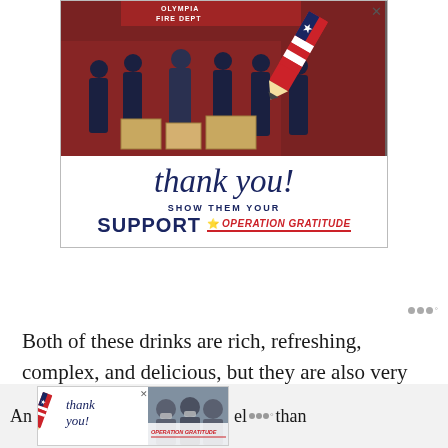[Figure (photo): Advertisement for Operation Gratitude showing firefighters from Olympia Fire Department posing with donated goods in front of a fire truck, with 'thank you!' in script, 'SHOW THEM YOUR SUPPORT' text, and Operation Gratitude logo with a patriotic pencil graphic.]
Both of these drinks are rich, refreshing, complex, and delicious, but they are also very different regarding flavor profiles and textures.
[Figure (photo): Smaller Operation Gratitude advertisement banner at the bottom showing 'thank you!' script with patriotic pencil and Operation Gratitude logo, with partially visible people wearing masks holding boxes.]